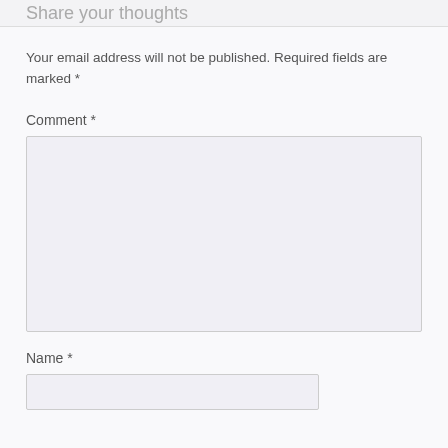Share your thoughts
Your email address will not be published. Required fields are marked *
Comment *
[Figure (other): Comment text area input box (empty)]
Name *
[Figure (other): Name text input box (empty, partial)]